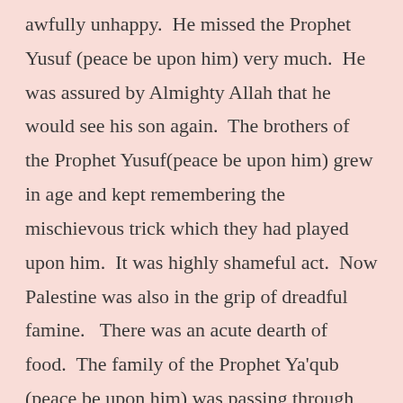awfully unhappy.  He missed the Prophet Yusuf (peace be upon him) very much.  He was assured by Almighty Allah that he would see his son again.  The brothers of the Prophet Yusuf(peace be upon him) grew in age and kept remembering the mischievous trick which they had played upon him.  It was highly shameful act.  Now Palestine was also in the grip of dreadful famine.   There was an acute dearth of food.  The family of the Prophet Ya'qub (peace be upon him) was passing through the most straitened circumstances.  They heard that Egyptians had huge stock of food stuff.  They sold it at reasonable rates.  The sons of the